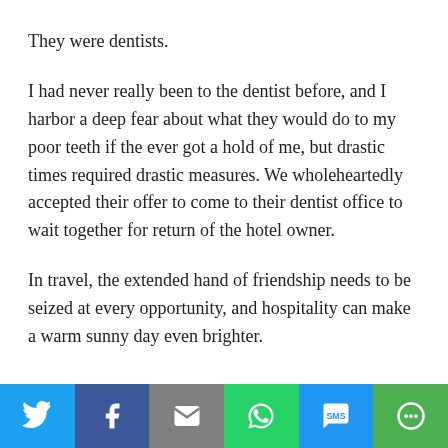They were dentists.
I had never really been to the dentist before, and I harbor a deep fear about what they would do to my poor teeth if the ever got a hold of me, but drastic times required drastic measures. We wholeheartedly accepted their offer to come to their dentist office to wait together for return of the hotel owner.
In travel, the extended hand of friendship needs to be seized at every opportunity, and hospitality can make a warm sunny day even brighter.
Social share bar: Twitter, Facebook, Email, WhatsApp, SMS, More